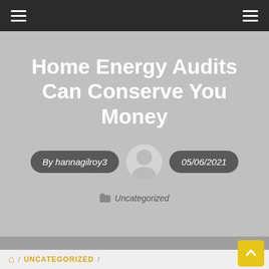Navigation bar with menu icons
Home Energy Audits Can Conserve You Money
By hannagilroy3
05/06/2021
Uncategorized
UNCATEGORIZED